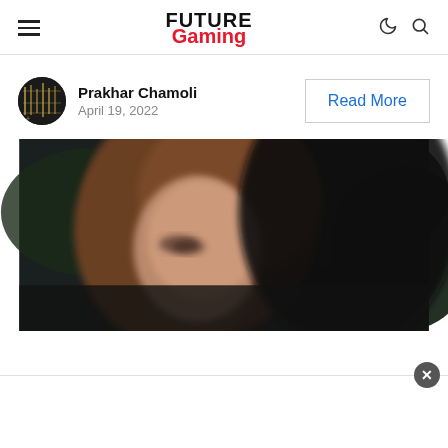Future Gaming — navigation header with hamburger menu, logo, moon and search icons
Prakhar Chamoli
April 19, 2022
Read More
[Figure (photo): Blurred close-up photo of a person with long brown hair against a dark background]
[Figure (other): White advertisement bar at bottom with close (x) button]